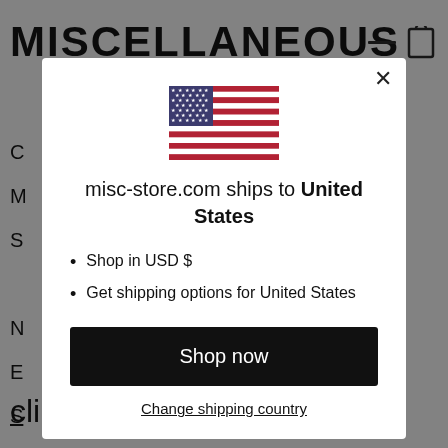[Figure (screenshot): Background website page showing MISCELLANEOUS store header and navigation items in gray overlay]
[Figure (illustration): US flag SVG illustration centered in modal]
misc-store.com ships to United States
Shop in USD $
Get shipping options for United States
Shop now
Change shipping country